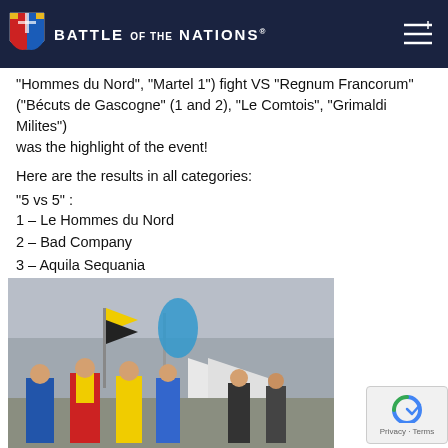Battle of the Nations
"Hommes du Nord", "Martel 1") fight VS "Regnum Francorum" ("Bécuts de Gascogne" (1 and 2), "Le Comtois", "Grimaldi Milites") was the highlight of the event!
Here are the results in all categories:
"5 vs 5" :
1 – Le Hommes du Nord
2 – Bad Company
3 – Aquila Sequania
4 – Martel 1
5 – Les Comtois
[Figure (photo): Outdoor medieval combat sports event with participants in colorful historical costumes (blue, red, yellow tunics) and spectators. Flags visible in background including yellow/black and blue. Trees and white tents in background.]